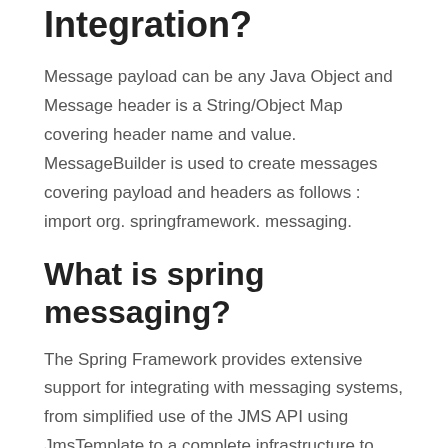Integration?
Message payload can be any Java Object and Message header is a String/Object Map covering header name and value. MessageBuilder is used to create messages covering payload and headers as follows : import org. springframework. messaging.
What is spring messaging?
The Spring Framework provides extensive support for integrating with messaging systems, from simplified use of the JMS API using JmsTemplate to a complete infrastructure to receive messages asynchronously. Spring AMQP provides a similar feature set for the Advanced Message Queuing Protocol.
What is Java DSL?
The Java DSL for Spring Integration is essentially a facade for